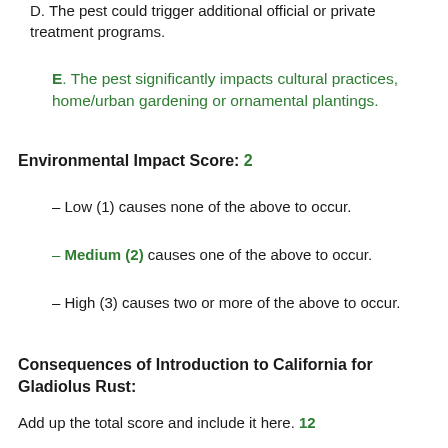D. The pest could trigger additional official or private treatment programs.
E. The pest significantly impacts cultural practices, home/urban gardening or ornamental plantings.
Environmental Impact Score: 2
– Low (1) causes none of the above to occur.
– Medium (2) causes one of the above to occur.
– High (3) causes two or more of the above to occur.
Consequences of Introduction to California for Gladiolus Rust:
Add up the total score and include it here. 12